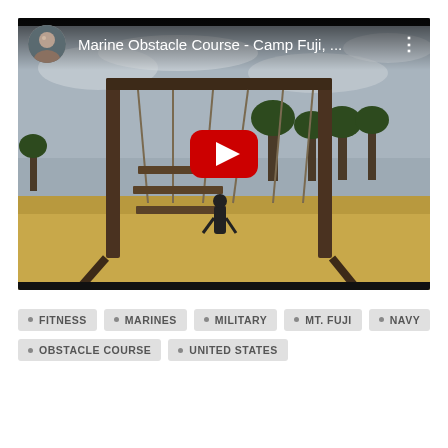[Figure (screenshot): YouTube video embed showing a Marine obstacle course at Camp Fuji, Japan. The thumbnail shows a swing/rope obstacle wooden frame structure on a dry grass field under cloudy sky. Top bar shows a circular avatar photo of a man, the title 'Marine Obstacle Course - Camp Fuji, ...' in white text, and a three-dot menu icon. A red YouTube play button is centered over the video thumbnail.]
FITNESS
MARINES
MILITARY
MT. FUJI
NAVY
OBSTACLE COURSE
UNITED STATES